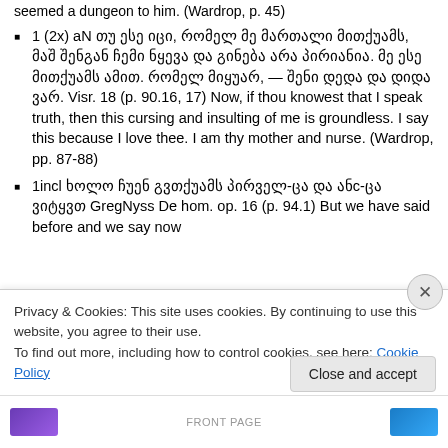seemed a dungeon to him. (Wardrop, p. 45)
1 (2x) aN თუ ესე იცი, რომელ მე მართალი მითქუამს, მაშ შენგან ჩემი ნყევა და გინება არა პირიანია. მე ესე მითქუამს ამით. რომელ მიყუარ, — შენი დედა და დიდა ვარ. Visr. 18 (p. 90.16, 17) Now, if thou knowest that I speak truth, then this cursing and insulting of me is groundless. I say this because I love thee. I am thy mother and nurse. (Wardrop, pp. 87-88)
1incl ხოლო ჩუენ გვთქუამს პირველ-ცა და ანc-ცა ვიტყვთ GregNyss De hom. op. 16 (p. 94.1) But we have said before and we say now
Privacy & Cookies: This site uses cookies. By continuing to use this website, you agree to their use.
To find out more, including how to control cookies, see here: Cookie Policy